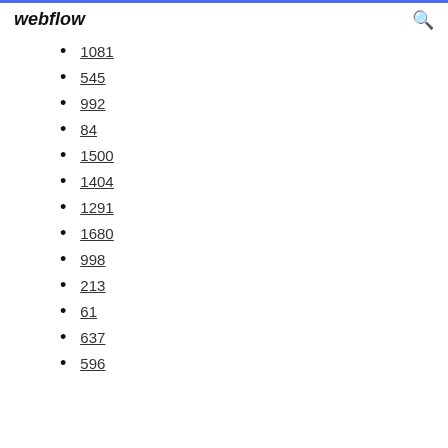webflow
1081
545
992
84
1500
1404
1291
1680
998
213
61
637
596